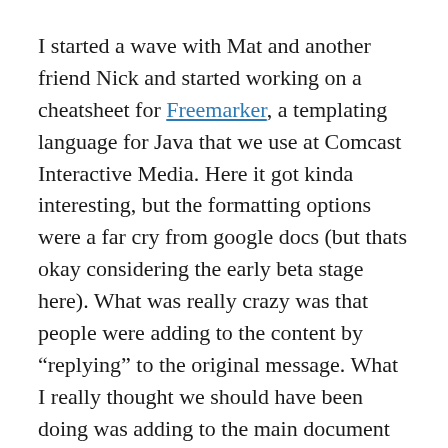I started a wave with Mat and another friend Nick and started working on a cheatsheet for Freemarker, a templating language for Java that we use at Comcast Interactive Media. Here it got kinda interesting, but the formatting options were a far cry from google docs (but thats okay considering the early beta stage here). What was really crazy was that people were adding to the content by “replying” to the original message. What I really thought we should have been doing was adding to the main document which is editable at any time. What this made me realize that there is indeed a difference between a conversation around a document and the document itself. Wave blurs